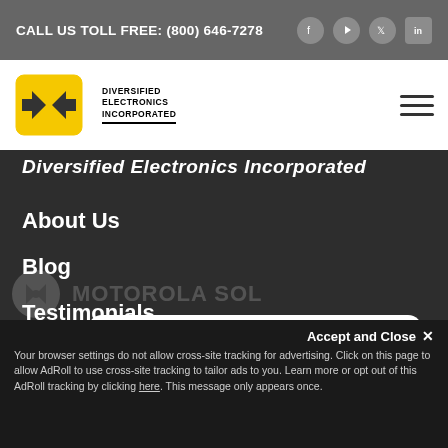CALL US TOLL FREE: (800) 646-7278
[Figure (logo): Diversified Electronics Incorporated logo with yellow arrow icon and company name text]
Diversified Electronics Incorporated
About Us
Blog
Testimonials
[Figure (logo): Motorola Solutions Channel Partner badge on white rounded card]
[Figure (logo): Partial Motorola Solutions logo visible at bottom of page]
Accept and Close ✕
Your browser settings do not allow cross-site tracking for advertising. Click on this page to allow AdRoll to use cross-site tracking to tailor ads to you. Learn more or opt out of this AdRoll tracking by clicking here. This message only appears once.